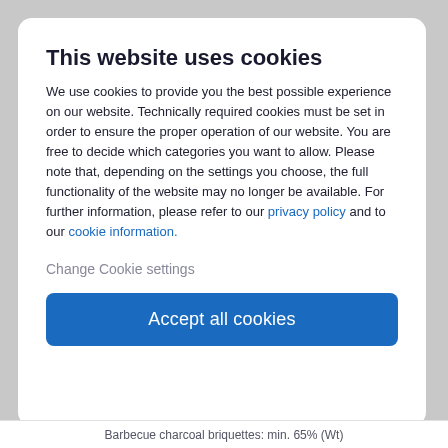This website uses cookies
We use cookies to provide you the best possible experience on our website. Technically required cookies must be set in order to ensure the proper operation of our website. You are free to decide which categories you want to allow. Please note that, depending on the settings you choose, the full functionality of the website may no longer be available. For further information, please refer to our privacy policy and to our cookie information.
Change Cookie settings
Accept all cookies
Barbecue charcoal briquettes: min. 65% (Wt)